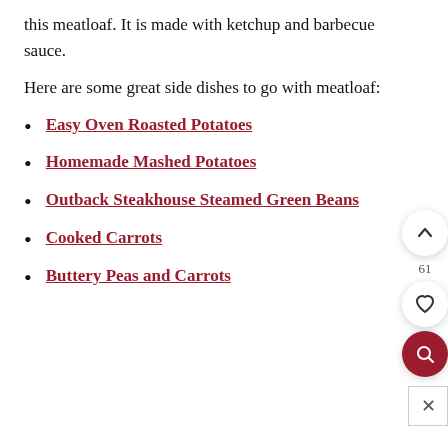this meatloaf. It is made with ketchup and barbecue sauce.
Here are some great side dishes to go with meatloaf:
Easy Oven Roasted Potatoes
Homemade Mashed Potatoes
Outback Steakhouse Steamed Green Beans
Cooked Carrots
Buttery Peas and Carrots